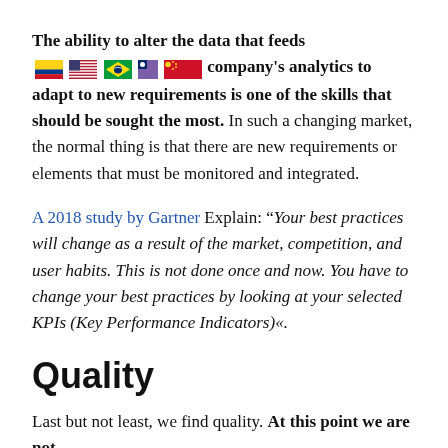The ability to alter the data that feeds my company's analytics to adapt to new requirements is one of the skills that should be sought the most. In such a changing market, the normal thing is that there are new requirements or elements that must be monitored and integrated.
A 2018 study by Gartner Explain: " Your best practices will change as a result of the market, competition, and user habits. This is not done once and now. You have to change your best practices by looking at your selected KPIs (Key Performance Indicators)«.
Quality
Last but not least, we find quality. At this point we are not